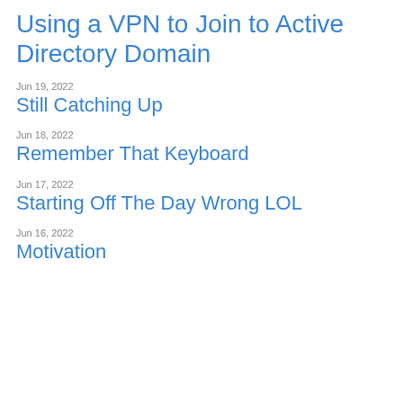Using a VPN to Join to Active Directory Domain
Jun 19, 2022
Still Catching Up
Jun 18, 2022
Remember That Keyboard
Jun 17, 2022
Starting Off The Day Wrong LOL
Jun 16, 2022
Motivation